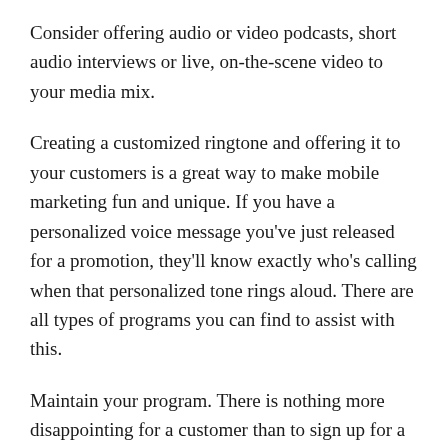Consider offering audio or video podcasts, short audio interviews or live, on-the-scene video to your media mix.
Creating a customized ringtone and offering it to your customers is a great way to make mobile marketing fun and unique. If you have a personalized voice message you've just released for a promotion, they'll know exactly who's calling when that personalized tone rings aloud. There are all types of programs you can find to assist with this.
Maintain your program. There is nothing more disappointing for a customer than to sign up for a mobile marketing campaign and never hear anything from the company. Take the time to send customers a message at least once a week, even if it just something simple, like telling them you are glad to have them aboard.
Compatibility is crucial. When starting a mobile marketing campaign it is essential that it will display correctly on...